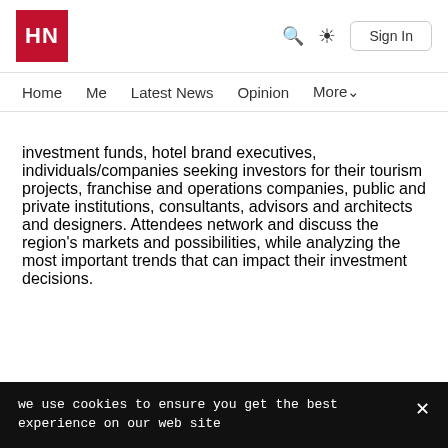HN | Search | Sun | Sign In
Home   Me   Latest News   Opinion   More
investment funds, hotel brand executives, individuals/companies seeking investors for their tourism projects, franchise and operations companies, public and private institutions, consultants, advisors and architects and designers. Attendees network and discuss the region's markets and possibilities, while analyzing the most important trends that can impact their investment decisions.
we use cookies to ensure you get the best experience on our website